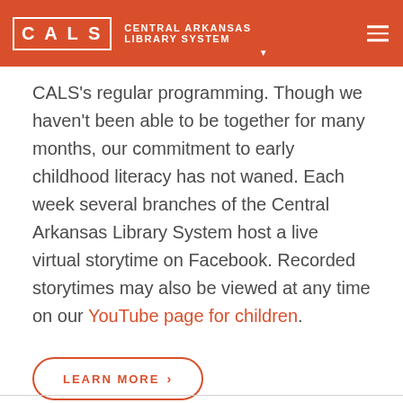CALS | CENTRAL ARKANSAS LIBRARY SYSTEM
CALS's regular programming. Though we haven't been able to be together for many months, our commitment to early childhood literacy has not waned. Each week several branches of the Central Arkansas Library System host a live virtual storytime on Facebook. Recorded storytimes may also be viewed at any time on our YouTube page for children.
LEARN MORE